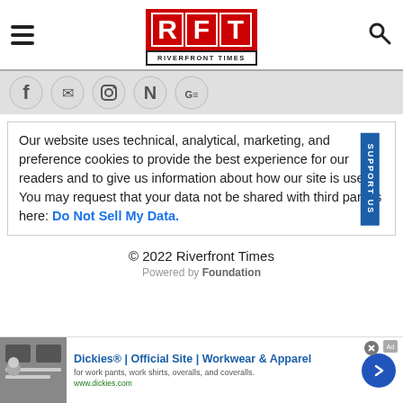RFT RIVERFRONT TIMES
[Figure (logo): RFT Riverfront Times logo - red background with white letters R, F, T in boxes, with RIVERFRONT TIMES text below]
[Figure (infographic): Social media icons row: Facebook, Twitter/email, Instagram, Nextdoor, Google News]
Our website uses technical, analytical, marketing, and preference cookies to provide the best experience for our readers and to give us information about how our site is used. You may request that your data not be shared with third parties here: Do Not Sell My Data.
© 2022 Riverfront Times
Powered by Foundation
[Figure (infographic): Advertisement banner: Dickies Official Site - Workwear & Apparel. For work pants, work shirts, overalls, and coveralls. www.dickies.com]